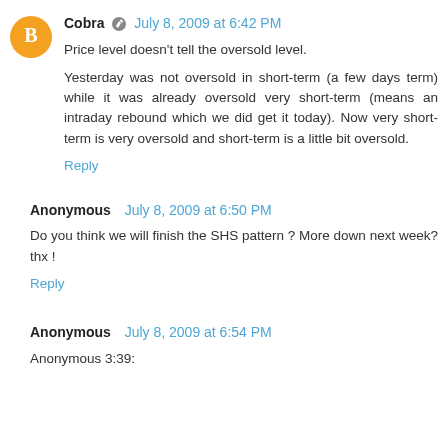Cobra  July 8, 2009 at 6:42 PM
Price level doesn't tell the oversold level.
Yesterday was not oversold in short-term (a few days term) while it was already oversold very short-term (means an intraday rebound which we did get it today). Now very short-term is very oversold and short-term is a little bit oversold.
Reply
Anonymous  July 8, 2009 at 6:50 PM
Do you think we will finish the SHS pattern ? More down next week? thx !
Reply
Anonymous  July 8, 2009 at 6:54 PM
Anonymous 3:39: